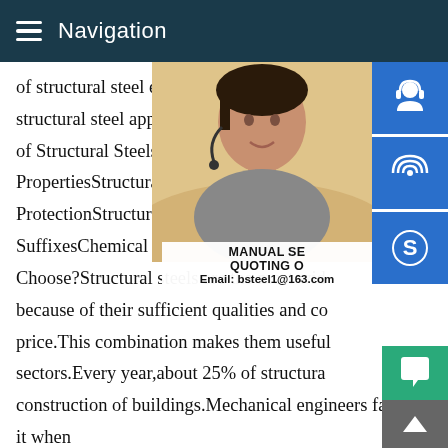Navigation
of structural steel equal to = 78.5 kN/m 3 a structural steel approximately = 7850 kg/m of Structural Steels S235,S275,S355,S420 PropertiesStructural Steel ApplicationsCor ProtectionStructural Steel Mechanical Pro SuffixesChemical Compositionen Steel Ec Choose?Structural steels are the most wid because of their sufficient qualities and co price.This combination makes them useful sectors.Every year,about 25% of structura construction of buildings.Mechanical engineers favour it when building machinery that does not have many special needs like high durability or resistance to heavy loads.Sometimes resista more on fractoryPeople also askWhat is ST37 2 steel?What is ST37 2 steel?St37-2 steel (1.0037 material) is an unalloyed structural steel grade complies with DIN 17100 1980 and has
[Figure (photo): Woman with headset - customer service representative photo overlay on right side]
[Figure (infographic): Three blue square buttons on right side: headset/support icon, phone/call icon, Skype icon]
MANUAL SE QUOTING O Email: bsteel1@163.com